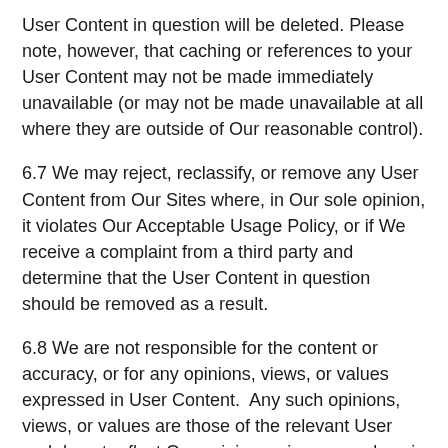User Content in question will be deleted. Please note, however, that caching or references to your User Content may not be made immediately unavailable (or may not be made unavailable at all where they are outside of Our reasonable control).
6.7 We may reject, reclassify, or remove any User Content from Our Sites where, in Our sole opinion, it violates Our Acceptable Usage Policy, or if We receive a complaint from a third party and determine that the User Content in question should be removed as a result.
6.8 We are not responsible for the content or accuracy, or for any opinions, views, or values expressed in User Content.  Any such opinions, views, or values are those of the relevant User and do not reflect Our opinions, views, or values in any way.
7. Links to Our Site